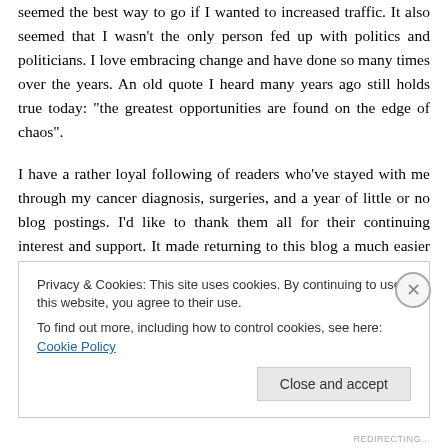seemed the best way to go if I wanted to increased traffic. It also seemed that I wasn't the only person fed up with politics and politicians. I love embracing change and have done so many times over the years. An old quote I heard many years ago still holds true today: “the greatest opportunities are found on the edge of chaos”.
I have a rather loyal following of readers who’ve stayed with me through my cancer diagnosis, surgeries, and a year of little or no blog postings. I’d like to thank them all for their continuing interest and support. It made returning to this blog a much easier transition than I had ever hoped
Privacy & Cookies: This site uses cookies. By continuing to use this website, you agree to their use.
To find out more, including how to control cookies, see here: Cookie Policy
Close and accept
REDIRECTING...